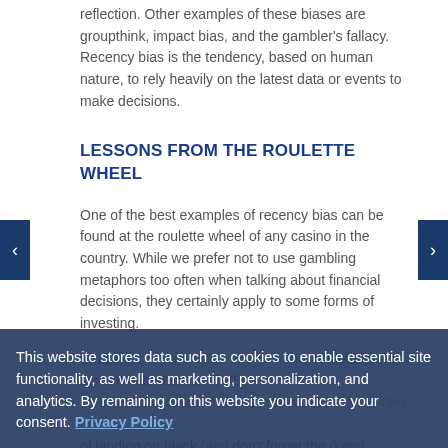reflection. Other examples of these biases are groupthink, impact bias, and the gambler's fallacy. Recency bias is the tendency, based on human nature, to rely heavily on the latest data or events to make decisions.
LESSONS FROM THE ROULETTE WHEEL
One of the best examples of recency bias can be found at the roulette wheel of any casino in the country. While we prefer not to use gambling metaphors too often when talking about financial decisions, they certainly apply to some forms of investing.
Studies of roulette have shown that a roulette wheel spins it has About a 47-49% chance of landing on red, as well as About a 47-49% chance of landing on black (and don't forget the 0 and 00 slots which are green). The wheel itself has
This website stores data such as cookies to enable essential site functionality, as well as marketing, personalization, and analytics. By remaining on this website you indicate your consent. Privacy Policy